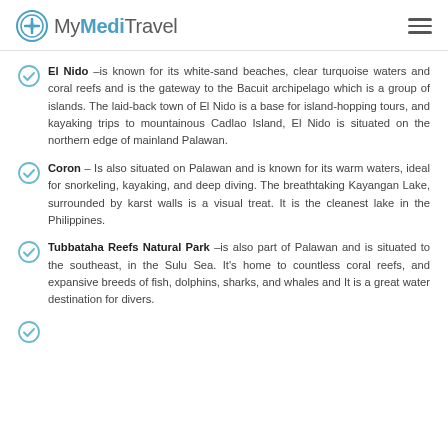MyMediTravel
El Nido –is known for its white-sand beaches, clear turquoise waters and coral reefs and is the gateway to the Bacuit archipelago which is a group of islands. The laid-back town of El Nido is a base for island-hopping tours, and kayaking trips to mountainous Cadlao Island, El Nido is situated on the northern edge of mainland Palawan.
Coron – Is also situated on Palawan and is known for its warm waters, ideal for snorkeling, kayaking, and deep diving. The breathtaking Kayangan Lake, surrounded by karst walls is a visual treat. It is the cleanest lake in the Philippines.
Tubbataha Reefs Natural Park –is also part of Palawan and is situated to the southeast, in the Sulu Sea. It's home to countless coral reefs, and expansive breeds of fish, dolphins, sharks, and whales and It is a great water destination for divers.